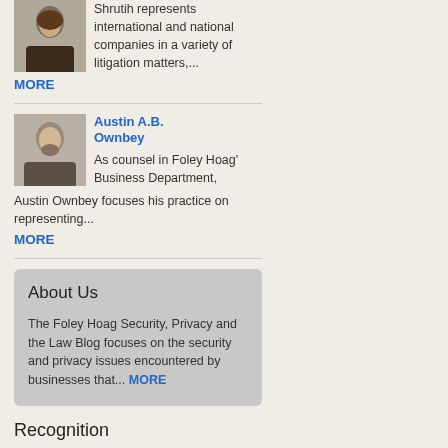Shrutih represents international and national companies in a variety of litigation matters,...
MORE
Austin A.B. Ownbey
As counsel in Foley Hoag' Business Department, Austin Ownbey focuses his practice on representing...
MORE
About Us
The Foley Hoag Security, Privacy and the Law Blog focuses on the security and privacy issues encountered by businesses that... MORE
Recognition
[Figure (logo): JD Supra Readers Choice logo badge — dark blue background with JDSUPRA text and READERS' CHOICE below]